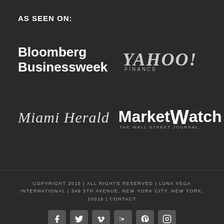AS SEEN ON:
[Figure (logo): Bloomberg Businessweek logo]
[Figure (logo): Yahoo! Finance logo]
[Figure (logo): Miami Herald logo]
[Figure (logo): MarketWatch - The Wall Street Journal logo]
COPYRIGHT 2015 | ALL RIGHTS RESERVED | LUNA VEGA INTERNATIONAL | 349 5TH AVENUE, NEW YORK CITY, NEW YORK, 10016 | CONTACT